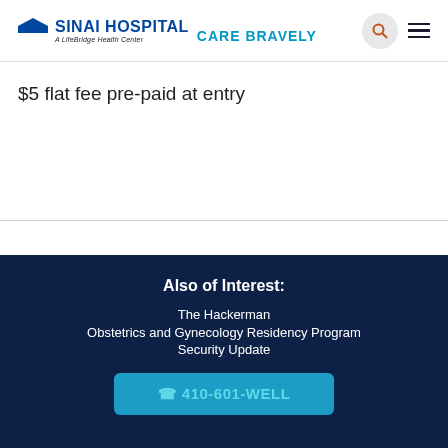SINAI HOSPITAL A LifeBridge Health Center — CARE BRAVELY
$5 flat fee pre-paid at entry
Also of Interest:
The Hackerman
Obstetrics and Gynecology Residency Program
Security Update
☎ 410-601-WELL